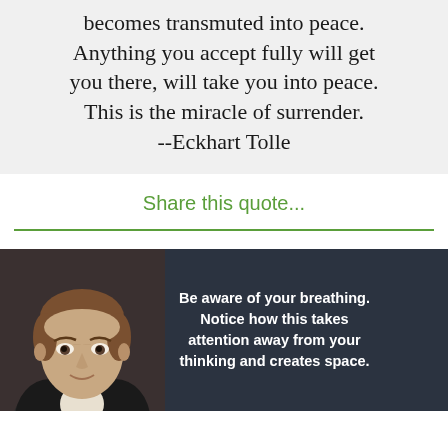becomes transmuted into peace. Anything you accept fully will get you there, will take you into peace. This is the miracle of surrender. --Eckhart Tolle
Share this quote...
[Figure (photo): Dark background card with a photo of a middle-aged man with brown hair on the left, and bold white text on the right reading: Be aware of your breathing. Notice how this takes attention away from your thinking and creates space.]